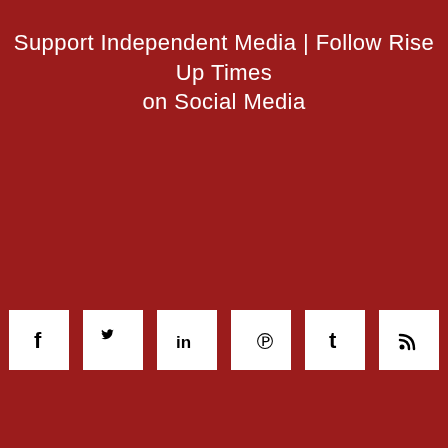Support Independent Media | Follow Rise Up Times on Social Media
[Figure (infographic): Six white square social media icon buttons on a dark red background: Facebook (f), Twitter (bird), LinkedIn (in), Pinterest (p), Tumblr (t), RSS feed icon]